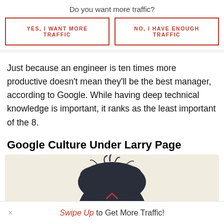Do you want more traffic?
YES, I WANT MORE TRAFFIC
NO, I HAVE ENOUGH TRAFFIC
Just because an engineer is ten times more productive doesn't mean they'll be the best manager, according to Google. While having deep technical knowledge is important, it ranks as the least important of the 8.
Google Culture Under Larry Page
[Figure (photo): Top of a person's head with dark hair against a light background]
Swipe Up to Get More Traffic!